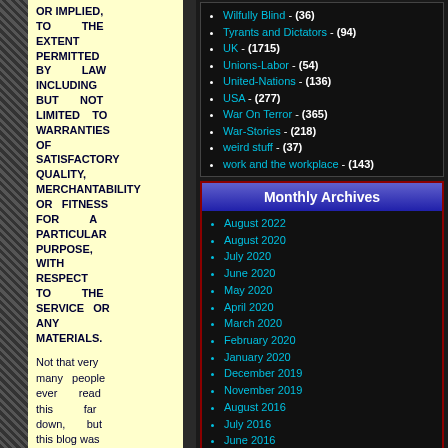OR IMPLIED, TO THE EXTENT PERMITTED BY LAW INCLUDING BUT NOT LIMITED TO WARRANTIES OF SATISFACTORY QUALITY, MERCHANTABILITY OR FITNESS FOR A PARTICULAR PURPOSE, WITH RESPECT TO THE SERVICE OR ANY MATERIALS.
Not that very many people ever read this far down, but this blog was the creation of Allan Kelly and his friend Vilmar. Vilmar moved on to his own blog some time...
Wilfully Blind - (36)
Tyrants and Dictators - (94)
UK - (1715)
Unions-Labor - (54)
United-Nations - (136)
USA - (277)
War On Terror - (365)
War-Stories - (218)
weird stuff - (37)
work and the workplace - (143)
Monthly Archives
August 2022
August 2020
July 2020
June 2020
May 2020
April 2020
March 2020
February 2020
January 2020
December 2019
November 2019
August 2016
July 2016
June 2016
May 2016
April 2016
March 2016
February 2016
January 2016
December 2015
November 2015
October 2015
September 2015
August 2015
July 2015
June 2015